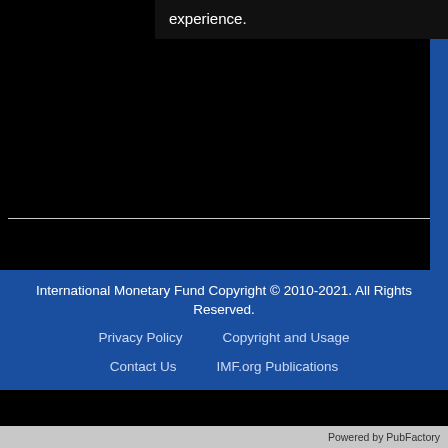experience.
take a foreign central bank, possibly alleviating the degree of severity of the monetary shock needed to establish their own credibility.
International Monetary Fund Copyright © 2010-2021. All Rights Reserved.
Privacy Policy    Copyright and Usage
Contact Us    IMF.org Publications
Powered by PubFactory